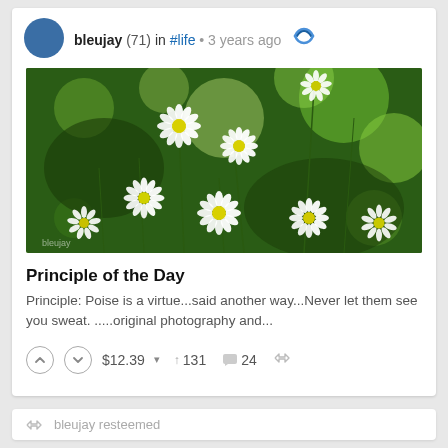bleujay (71) in #life • 3 years ago
[Figure (photo): Photograph of white daisy-like wildflowers with yellow centers against a blurred green bokeh background]
Principle of the Day
Principle: Poise is a virtue...said another way...Never let them see you sweat. .....original photography and...
$12.39 ▾   131   24